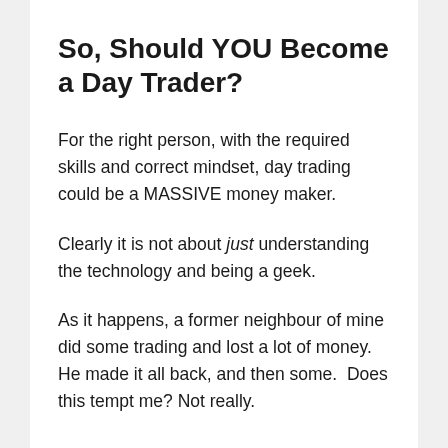So, Should YOU Become a Day Trader?
For the right person, with the required skills and correct mindset, day trading could be a MASSIVE money maker.
Clearly it is not about just understanding the technology and being a geek.
As it happens, a former neighbour of mine did some trading and lost a lot of money. He made it all back, and then some.  Does this tempt me? Not really.